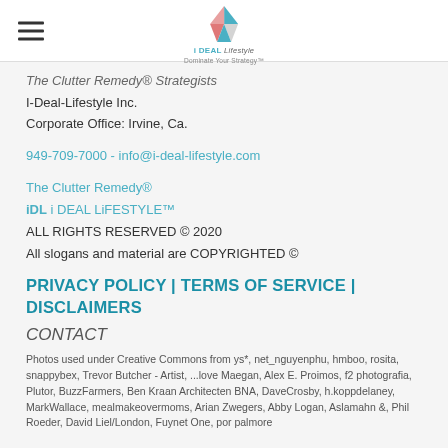[Figure (logo): i DEAL Lifestyle diamond logo with pink and teal geometric diamond shape above text 'i DEAL Lifestyle - Dominate Your Strategy']
The Clutter Remedy® Strategists
I-Deal-Lifestyle Inc.
Corporate Office: Irvine, Ca.
949-709-7000 - info@i-deal-lifestyle.com
The Clutter Remedy®
iDL i DEAL LiFESTYLE™
ALL RIGHTS RESERVED © 2020
All slogans and material are COPYRIGHTED ©
PRIVACY POLICY | TERMS OF SERVICE | DISCLAIMERS
CONTACT
Photos used under Creative Commons from ys*, net_nguyenphu, hmboo, rosita, snappybex, Trevor Butcher - Artist, ...love Maegan, Alex E. Proimos, f2 photografia, Plutor, BuzzFarmers, Ben Kraan Architecten BNA, DaveCrosby, h.koppdelaney, MarkWallace, mealmakeovermoms, Arian Zwegers, Abby Logan, Aslamahn &, Phil Roeder, David Liel/London, Fuynet One, por palmore